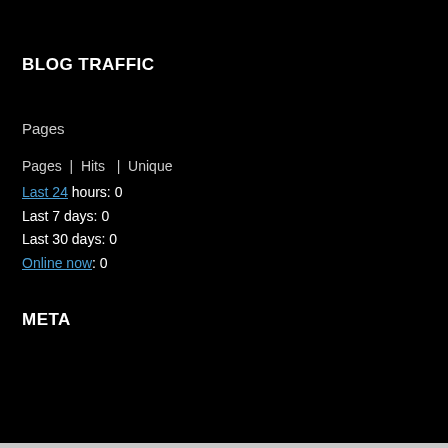BLOG TRAFFIC
Pages
Pages | Hits | Unique
Last 24 hours: 0
Last 7 days: 0
Last 30 days: 0
Online now: 0
META
[Figure (infographic): Infolinks advertisement banner with beauty/makeup images including lips with lipstick, makeup brush, eye with eyebrow makeup, Ulta Beauty logo, smoky eye makeup, and SHOP NOW call to action button]